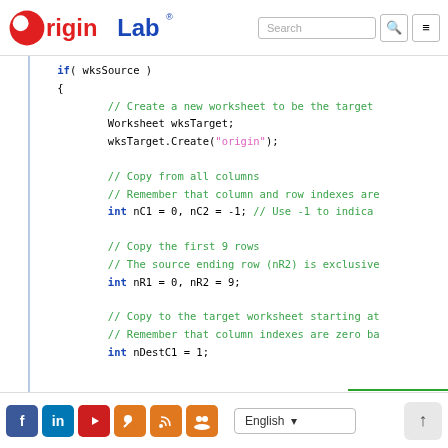OriginLab - Search
[Figure (screenshot): Code snippet showing C++ origin scripting: if(wksSource){ block with Worksheet wksTarget creation, wksTarget.Create("origin"), column/row copy setup with nC1=0,nC2=-1 and nR1=0,nR2=9, and nDestC1=1]
Social icons (Facebook, LinkedIn, YouTube, OriginLab, RSS, Group), English language selector, scroll button